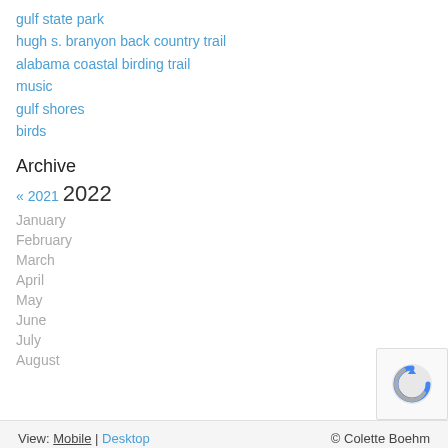gulf state park
hugh s. branyon back country trail
alabama coastal birding trail
music
gulf shores
birds
Archive
« 2021 2022
January
February
March
April
May
June
July
August
View: Mobile | Desktop    © Colette Boehm